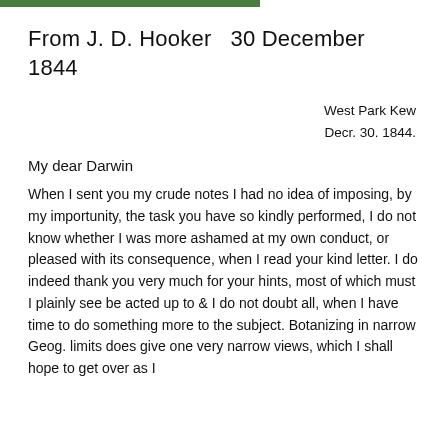From J. D. Hooker   30 December 1844
West Park Kew
Decr. 30. 1844.
My dear Darwin
When I sent you my crude notes I had no idea of imposing, by my importunity, the task you have so kindly performed, I do not know whether I was more ashamed at my own conduct, or pleased with its consequence, when I read your kind letter. I do indeed thank you very much for your hints, most of which must I plainly see be acted up to & I do not doubt all, when I have time to do something more to the subject. Botanizing in narrow Geog. limits does give one very narrow views, which I shall hope to get over as I